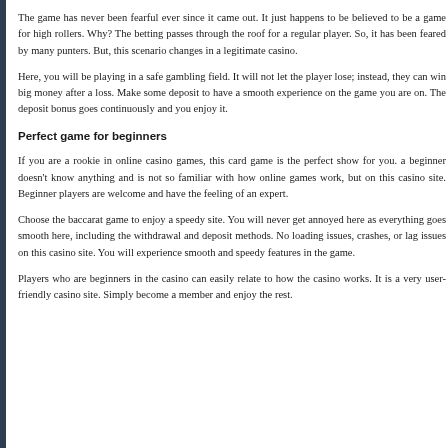The game has never been fearful ever since it came out. It just happens to be believed to be a game for high rollers. Why? The betting passes through the roof for a regular player. So, it has been feared by many punters. But, this scenario changes in a legitimate casino.
Here, you will be playing in a safe gambling field. It will not let the player lose; instead, they can win big money after a loss. Make some deposit to have a smooth experience on the game you are on. The deposit bonus goes continuously and you enjoy it.
Perfect game for beginners
If you are a rookie in online casino games, this card game is the perfect show for you. a beginner doesn't know anything and is not so familiar with how online games work, but on this casino site. Beginner players are welcome and have the feeling of an expert.
Choose the baccarat game to enjoy a speedy site. You will never get annoyed here as everything goes smooth here, including the withdrawal and deposit methods. No loading issues, crashes, or lag issues on this casino site. You will experience smooth and speedy features in the game.
Players who are beginners in the casino can easily relate to how the casino works. It is a very user-friendly casino site. Simply become a member and enjoy the rest.